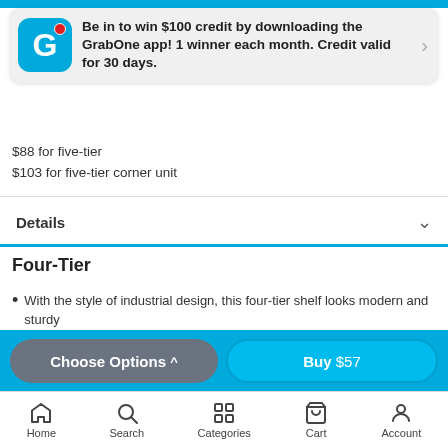Be in to win $100 credit by downloading the GrabOne app! 1 winner each month. Credit valid for 30 days.
$88 for five-tier
$103 for five-tier corner unit
Details
Four-Tier
With the style of industrial design, this four-tier shelf looks modern and sturdy
The boltless design is creative and easy to assemble
Choose Options ^
Buy $57
Home  Search  Categories  Cart  Account